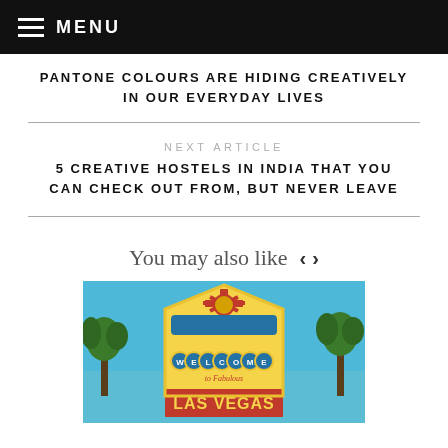MENU
PANTONE COLOURS ARE HIDING CREATIVELY IN OUR EVERYDAY LIVES
NEXT ARTICLE
5 CREATIVE HOSTELS IN INDIA THAT YOU CAN CHECK OUT FROM, BUT NEVER LEAVE
You may also like
[Figure (photo): Welcome to Fabulous Las Vegas sign with palm trees and blue sky background]